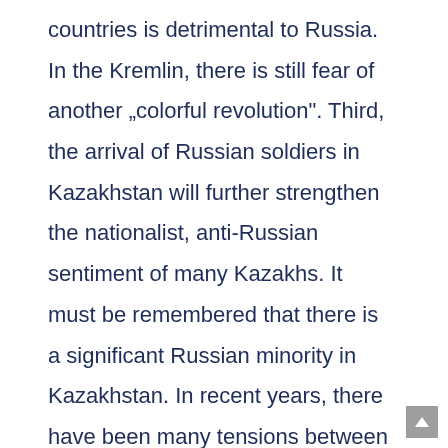countries is detrimental to Russia. In the Kremlin, there is still fear of another „colorful revolution". Third, the arrival of Russian soldiers in Kazakhstan will further strengthen the nationalist, anti-Russian sentiment of many Kazakhs. It must be remembered that there is a significant Russian minority in Kazakhstan. In recent years, there have been many tensions between